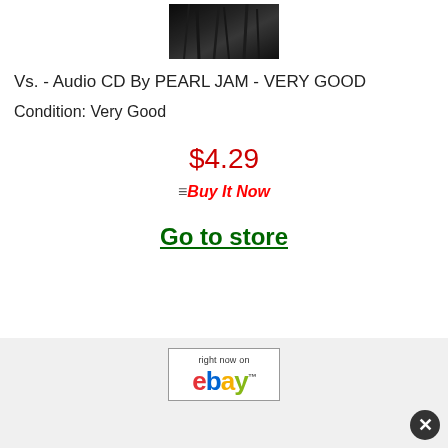[Figure (photo): Album cover image for Pearl Jam Vs., dark/black and white photo with trees or forest imagery]
Vs. - Audio CD By PEARL JAM - VERY GOOD
Condition: Very Good
$4.29
Buy It Now
Go to store
[Figure (logo): eBay logo with text 'right now on ebay']